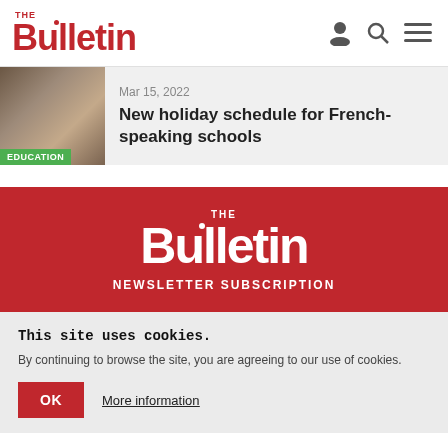THE Bulletin
[Figure (photo): Thumbnail photo of shelves with items, with an EDUCATION category badge overlay]
Mar 15, 2022
New holiday schedule for French-speaking schools
[Figure (logo): The Bulletin logo in white on red background, with NEWSLETTER SUBSCRIPTION text below]
This site uses cookies.
By continuing to browse the site, you are agreeing to our use of cookies.
OK   More information